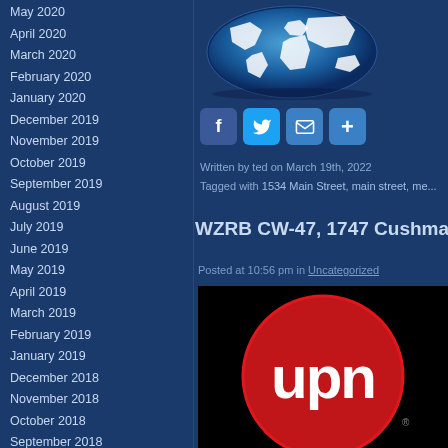May 2020
April 2020
March 2020
February 2020
January 2020
December 2019
November 2019
October 2019
September 2019
August 2019
July 2019
June 2019
May 2019
April 2019
March 2019
February 2019
January 2019
December 2018
November 2018
October 2018
September 2018
August 2018
July 2018
June 2018
May 2018
April 2018
March 2018
[Figure (illustration): Globe/world map illustration with blue gradient background showing white continent outlines]
[Figure (infographic): Social share buttons: Facebook (f), Twitter (bird), Email (envelope), Share (+)]
Written by ted on March 19th, 2022
Tagged with 1534 Main Street, main street, me...
WZRB CW-47, 1747 Cushma...
Posted at 10:56 pm in Uncategorized
[Figure (logo): UPN logo — red circle with white 'upn' lettering on black background]